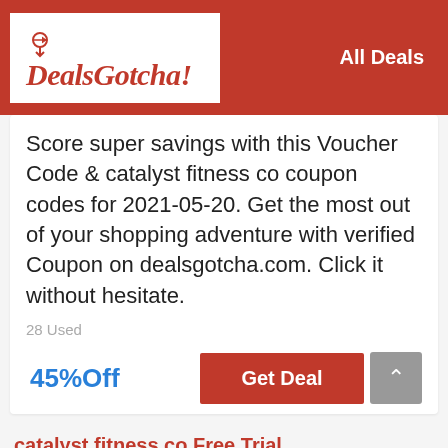DealsGotcha! | All Deals
Score super savings with this Voucher Code & catalyst fitness co coupon codes for 2021-05-20. Get the most out of your shopping adventure with verified Coupon on dealsgotcha.com. Click it without hesitate.
28 Used
45%Off
Get Deal
catalyst fitness co Free Trial
25%